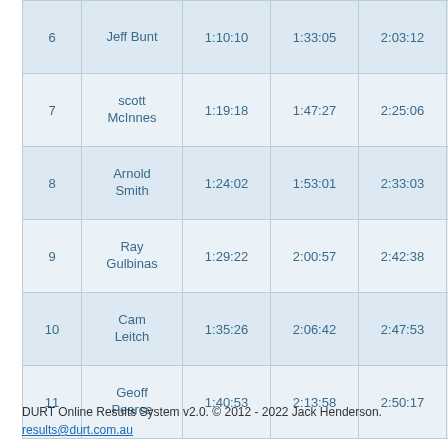| # | Name | Split 1 | Split 2 | Split 3 | Split 4 |  |
| --- | --- | --- | --- | --- | --- | --- |
| 6 | Jeff Bunt | 1:10:10 | 1:33:05 | 2:03:12 | 2:04:22 | 2 |
| 7 | scott McInnes | 1:19:18 | 1:47:27 | 2:25:06 | 2:26:37 | 2 |
| 8 | Arnold Smith | 1:24:02 | 1:53:01 | 2:33:03 | 2:34:34 | 2 |
| 9 | Ray Gulbinas | 1:29:22 | 2:00:57 | 2:42:38 | 2:44:17 | 2 |
| 10 | Cam Leitch | 1:35:26 | 2:06:42 | 2:47:53 | 2:49:32 | 2 |
| 11 | Geoff Pearce | 1:40:53 | 2:13:58 | 2:50:17 | 2:51:36 | 2 |
DURT Online Results System v2.0. © 2012 - 2022 Jack Henderson. results@durt.com.au